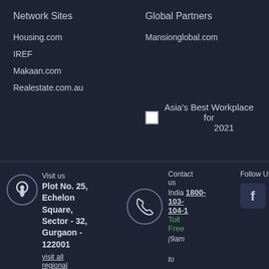Network Sites
Housing.com
IREF
Makaan.com
Realestate.com.au
Global Partners
Mansionglobal.com
[Figure (logo): Asia's Best Workplace for 2021 award badge with small image placeholder]
Visit us
Plot No. 25, Echelon Square, Sector - 32, Gurgaon - 122001
visit all regional offices
[Figure (other): Location pin icon in a circle]
[Figure (other): Phone handset icon in a circle]
Contact us
India 1800-103-104-1
Toll Free
(9am to 6pm)
Follow Us
[Figure (other): Facebook and Twitter social media icons]